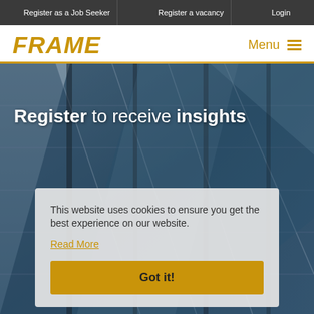Register as a Job Seeker | Register a vacancy | Login
FRAME
Menu
[Figure (screenshot): Glass building facade with angular geometric reflections, used as hero background image]
Register to receive insights
This website uses cookies to ensure you get the best experience on our website.
Read More
Got it!